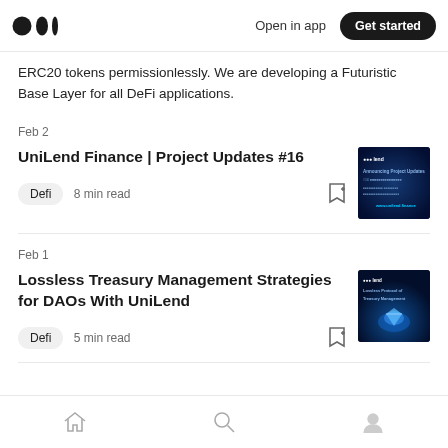Open in app | Get started
ERC20 tokens permissionlessly. We are developing a Futuristic Base Layer for all DeFi applications.
Feb 2
UniLend Finance | Project Updates #16
Defi  8 min read
Feb 1
Lossless Treasury Management Strategies for DAOs With UniLend
Defi  5 min read
Home | Search | Profile